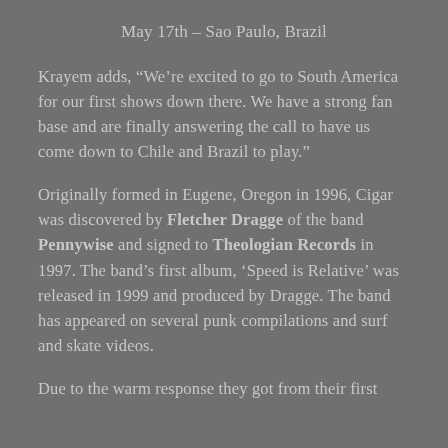May 17th – Sao Paulo, Brazil
Krayem adds, “We’re excited to go to South America for our first shows down there. We have a strong fan base and are finally answering the call to have us come down to Chile and Brazil to play.”
Originally formed in Eugene, Oregon in 1996, Cigar was discovered by Fletcher Dragge of the band Pennywise and signed to Theologian Records in 1997. The band’s first album, ‘Speed is Relative’ was released in 1999 and produced by Dragge. The band has appeared on several punk compilations and surf and skate videos.
Due to the warm response they got from their first